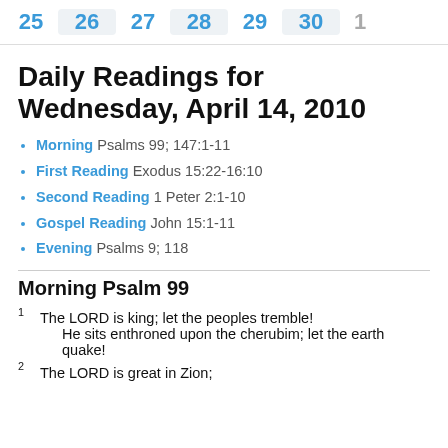25  26  27  28  29  30  1
Daily Readings for Wednesday, April 14, 2010
Morning Psalms 99; 147:1-11
First Reading Exodus 15:22-16:10
Second Reading 1 Peter 2:1-10
Gospel Reading John 15:1-11
Evening Psalms 9; 118
Morning Psalm 99
1 The LORD is king; let the peoples tremble!
    He sits enthroned upon the cherubim; let the earth quake!
2 The LORD is great in Zion;